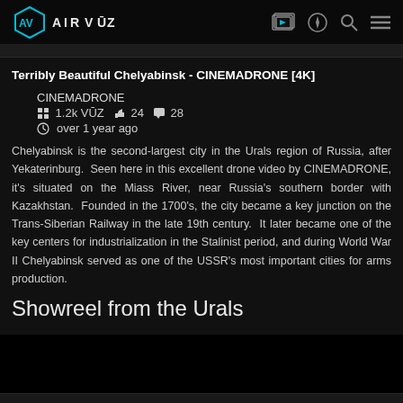AIRVŪZ — navigation bar with logo and icons
Terribly Beautiful Chelyabinsk - CINEMADRONE [4K]
CINEMADRONE
⌘ 1.2k VŪZ 👍 24 💬 28
🕐 over 1 year ago
Chelyabinsk is the second-largest city in the Urals region of Russia, after Yekaterinburg.  Seen here in this excellent drone video by CINEMADRONE, it's situated on the Miass River, near Russia's southern border with Kazakhstan.  Founded in the 1700's, the city became a key junction on the Trans-Siberian Railway in the late 19th century.  It later became one of the key centers for industrialization in the Stalinist period, and during World War II Chelyabinsk served as one of the USSR's most important cities for arms production.
Showreel from the Urals